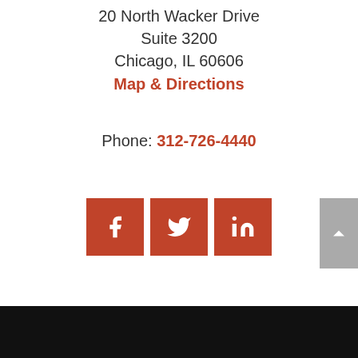20 North Wacker Drive
Suite 3200
Chicago, IL 60606
Map & Directions
Phone: 312-726-4440
[Figure (other): Social media icons: Facebook, Twitter, LinkedIn buttons in red/brown square backgrounds]